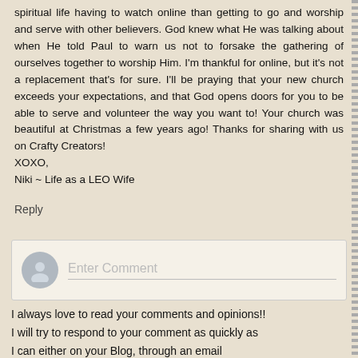spiritual life having to watch online than getting to go and worship and serve with other believers. God knew what He was talking about when He told Paul to warn us not to forsake the gathering of ourselves together to worship Him. I'm thankful for online, but it's not a replacement that's for sure. I'll be praying that your new church exceeds your expectations, and that God opens doors for you to be able to serve and volunteer the way you want to! Your church was beautiful at Christmas a few years ago! Thanks for sharing with us on Crafty Creators!
XOXO,
Niki ~ Life as a LEO Wife
Reply
[Figure (other): Comment input box with avatar placeholder icon and 'Enter Comment' placeholder text field]
I always love to read your comments and opinions!!
I will try to respond to your comment as quickly as
I can either on your Blog, through an email